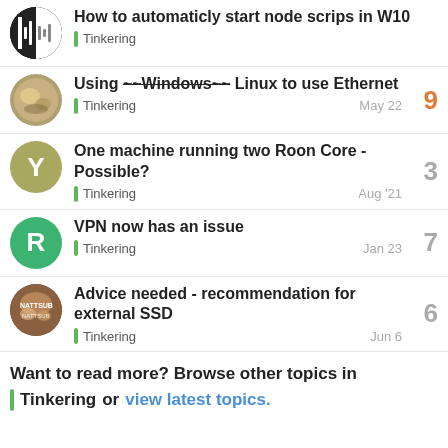How to automaticly start node scrips in W10 | Tinkering
Using ~~Windows~~ Linux to use Ethernet | Tinkering | May 22 | 9
One machine running two Roon Core - Possible? | Tinkering | Aug '21 | 3
VPN now has an issue | Tinkering | Jan 23 | 7
Advice needed - recommendation for external SSD | Tinkering | Jun 6 | 6
Want to read more? Browse other topics in Tinkering or view latest topics.